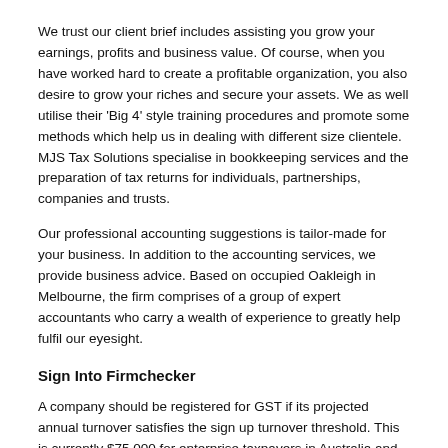We trust our client brief includes assisting you grow your earnings, profits and business value. Of course, when you have worked hard to create a profitable organization, you also desire to grow your riches and secure your assets. We as well utilise their 'Big 4' style training procedures and promote some methods which help us in dealing with different size clientele. MJS Tax Solutions specialise in bookkeeping services and the preparation of tax returns for individuals, partnerships, companies and trusts.
Our professional accounting suggestions is tailor-made for your business. In addition to the accounting services, we provide business advice. Based on occupied Oakleigh in Melbourne, the firm comprises of a group of expert accountants who carry a wealth of experience to greatly help fulfil our eyesight.
Sign Into Firmchecker
A company should be registered for GST if its projected annual turnover satisfies the sign up turnover threshold. This is currently $75,000 for enterprise taxpayers in Australia and NZ$60,000 in New Zealand. For Australian companies, the